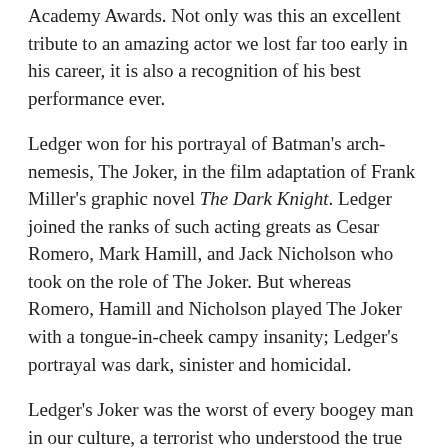Academy Awards. Not only was this an excellent tribute to an amazing actor we lost far too early in his career, it is also a recognition of his best performance ever.
Ledger won for his portrayal of Batman’s arch-nemesis, The Joker, in the film adaptation of Frank Miller’s graphic novel The Dark Knight. Ledger joined the ranks of such acting greats as Cesar Romero, Mark Hamill, and Jack Nicholson who took on the role of The Joker. But whereas Romero, Hamill and Nicholson played The Joker with a tongue-in-cheek campy insanity; Ledger’s portrayal was dark, sinister and homicidal.
Ledger’s Joker was the worst of every boogey man in our culture, a terrorist who understood the true power of terror: the ability to make an enemy an ally.
Last month, The National Review Online named The Dark Knight as the 12th Best Conservative Film of the last 25 years. One pundit made connections between Batman and Former President George W. Bush saying:
In his fight against the terrorist Joker, Batman has to devise new means of surveillance, push the limits of